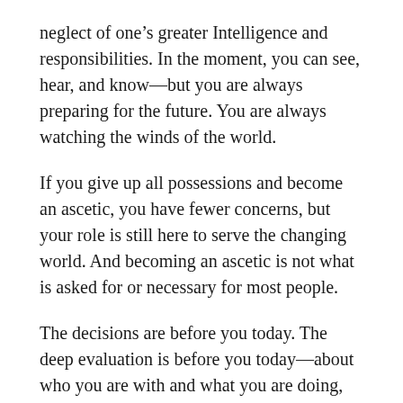neglect of one’s greater Intelligence and responsibilities. In the moment, you can see, hear, and know—but you are always preparing for the future. You are always watching the winds of the world.
If you give up all possessions and become an ascetic, you have fewer concerns, but your role is still here to serve the changing world. And becoming an ascetic is not what is asked for or necessary for most people.
The decisions are before you today. The deep evaluation is before you today—about who you are with and what you are doing, what should be maintained and what should be set aside, what should be changed and what should be preserved, who to be with, who not to be with, what to say, what not to say, what to do, what not to do. That is your